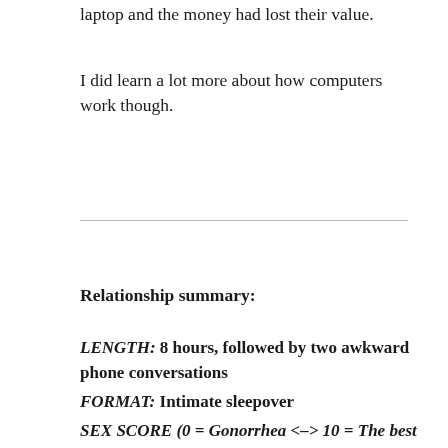laptop and the money had lost their value.
I did learn a lot more about how computers work though.
Relationship summary:
LENGTH: 8 hours, followed by two awkward phone conversations
FORMAT: Intimate sleepover
SEX SCORE (0 = Gonorrhea <–> 10 = The best sex